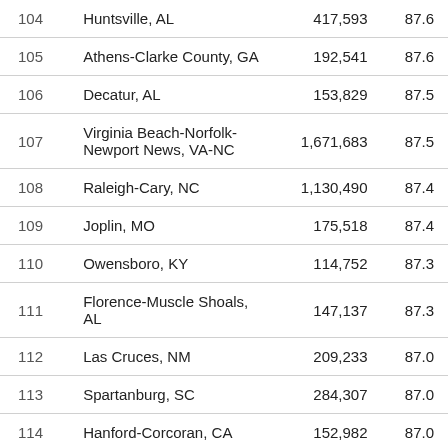| 104 | Huntsville, AL | 417,593 | 87.6 |
| 105 | Athens-Clarke County, GA | 192,541 | 87.6 |
| 106 | Decatur, AL | 153,829 | 87.5 |
| 107 | Virginia Beach-Norfolk-Newport News, VA-NC | 1,671,683 | 87.5 |
| 108 | Raleigh-Cary, NC | 1,130,490 | 87.4 |
| 109 | Joplin, MO | 175,518 | 87.4 |
| 110 | Owensboro, KY | 114,752 | 87.3 |
| 111 | Florence-Muscle Shoals, AL | 147,137 | 87.3 |
| 112 | Las Cruces, NM | 209,233 | 87.0 |
| 113 | Spartanburg, SC | 284,307 | 87.0 |
| 114 | Hanford-Corcoran, CA | 152,982 | 87.0 |